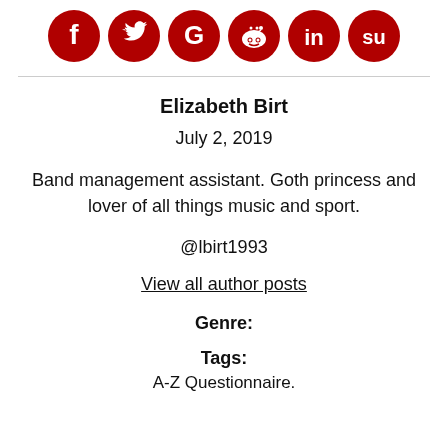[Figure (illustration): Six red circular social media share buttons: Facebook, Twitter, Google+, Reddit, LinkedIn, StumbleUpon]
Elizabeth Birt
July 2, 2019
Band management assistant. Goth princess and lover of all things music and sport.
@lbirt1993
View all author posts
Genre:
Tags:
A-Z Questionnaire.